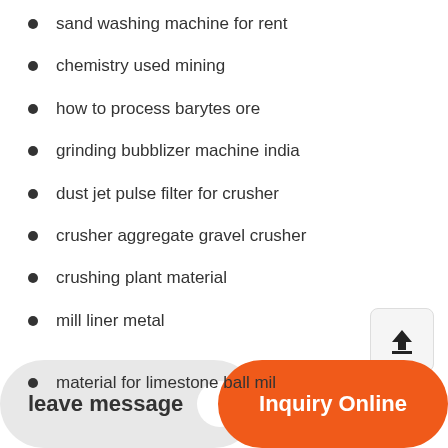sand washing machine for rent
chemistry used mining
how to process barytes ore
grinding bubblizer machine india
dust jet pulse filter for crusher
crusher aggregate gravel crusher
crushing plant material
mill liner metal
material for limestone ball mil